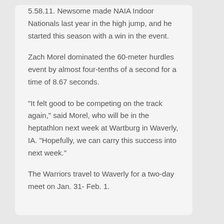5.58.11. Newsome made NAIA Indoor Nationals last year in the high jump, and he started this season with a win in the event.
Zach Morel dominated the 60-meter hurdles event by almost four-tenths of a second for a time of 8.67 seconds.
“It felt good to be competing on the track again,” said Morel, who will be in the heptathlon next week at Wartburg in Waverly, IA. “Hopefully, we can carry this success into next week.”
The Warriors travel to Waverly for a two-day meet on Jan. 31- Feb. 1.